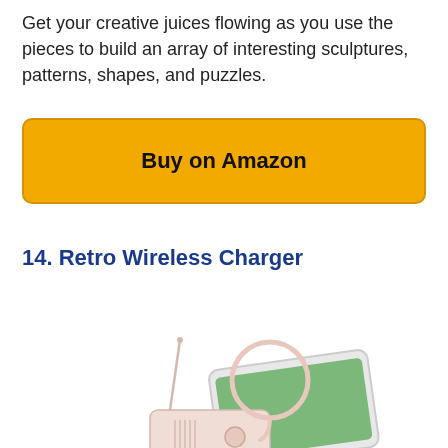Get your creative juices flowing as you use the pieces to build an array of interesting sculptures, patterns, shapes, and puzzles.
Buy on Amazon
14. Retro Wireless Charger
[Figure (photo): Photo of a retro-style wireless charger with an antenna and a circular charging coil, shown with a smartphone placed on it.]